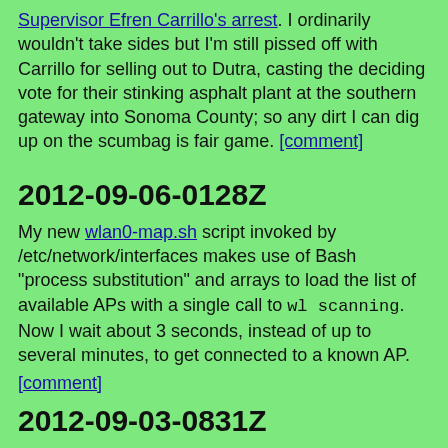Supervisor Efren Carrillo's arrest. I ordinarily wouldn't take sides but I'm still pissed off with Carrillo for selling out to Dutra, casting the deciding vote for their stinking asphalt plant at the southern gateway into Sonoma County; so any dirt I can dig up on the scumbag is fair game. [comment]
2012-09-06-0128Z
My new wlan0-map.sh script invoked by /etc/network/interfaces makes use of Bash "process substitution" and arrays to load the list of available APs with a single call to wl scanning. Now I wait about 3 seconds, instead of up to several minutes, to get connected to a known AP.
[comment]
2012-09-03-0831Z
I don't get Susanne Posel's apparent fixation on tying Julian Assange and WikiLeaks to the CIA, as in this article from about a month ago. And I haven't seen WikiLeaks or Anonymous outing her, so either they consider her someone to be ignored if they're aware of her at all, or the charges